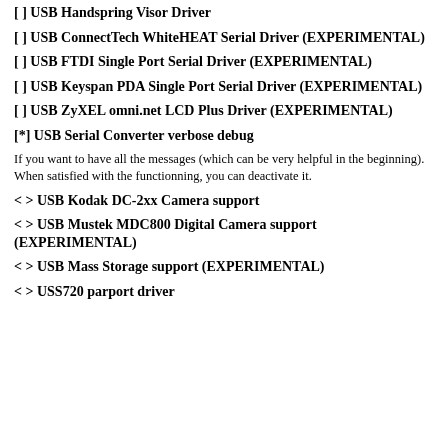[ ] USB Handspring Visor Driver
[ ] USB ConnectTech WhiteHEAT Serial Driver (EXPERIMENTAL)
[ ] USB FTDI Single Port Serial Driver (EXPERIMENTAL)
[ ] USB Keyspan PDA Single Port Serial Driver (EXPERIMENTAL)
[ ] USB ZyXEL omni.net LCD Plus Driver (EXPERIMENTAL)
[*] USB Serial Converter verbose debug
If you want to have all the messages (which can be very helpful in the beginning). When satisfied with the functionning, you can deactivate it.
< > USB Kodak DC-2xx Camera support
< > USB Mustek MDC800 Digital Camera support (EXPERIMENTAL)
< > USB Mass Storage support (EXPERIMENTAL)
< > USS720 parport driver